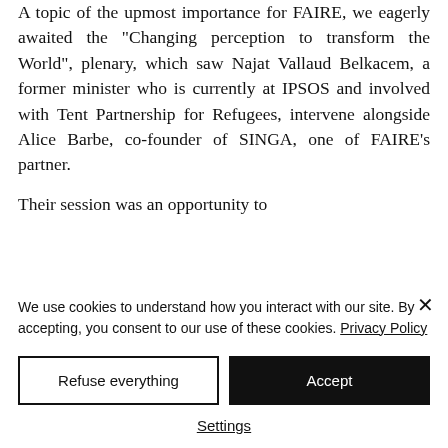A topic of the upmost importance for FAIRE, we eagerly awaited the "Changing perception to transform the World", plenary, which saw Najat Vallaud Belkacem, a former minister who is currently at IPSOS and involved with Tent Partnership for Refugees, intervene alongside Alice Barbe, co-founder of SINGA, one of FAIRE's partner.

Their session was an opportunity to
We use cookies to understand how you interact with our site. By accepting, you consent to our use of these cookies. Privacy Policy
Refuse everything
Accept
Settings